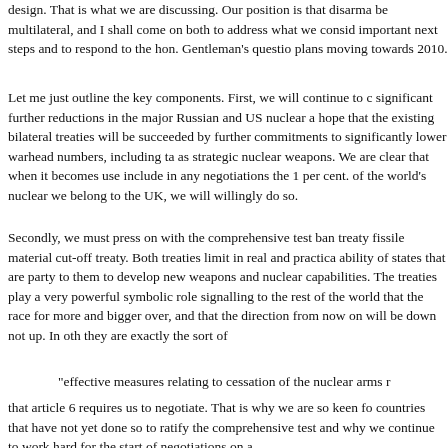design. That is what we are discussing. Our position is that disarma be multilateral, and I shall come on both to address what we consid important next steps and to respond to the hon. Gentleman's questio plans moving towards 2010.
Let me just outline the key components. First, we will continue to c significant further reductions in the major Russian and US nuclear a hope that the existing bilateral treaties will be succeeded by further commitments to significantly lower warhead numbers, including ta as strategic nuclear weapons. We are clear that when it becomes use include in any negotiations the 1 per cent. of the world's nuclear we belong to the UK, we will willingly do so.
Secondly, we must press on with the comprehensive test ban treaty fissile material cut-off treaty. Both treaties limit in real and practica ability of states that are party to them to develop new weapons and nuclear capabilities. The treaties play a very powerful symbolic role signalling to the rest of the world that the race for more and bigger over, and that the direction from now on will be down not up. In oth they are exactly the sort of
"effective measures relating to cessation of the nuclear arms r
that article 6 requires us to negotiate. That is why we are so keen fo countries that have not yet done so to ratify the comprehensive test and why we continue to work hard for the start of negotiations on a